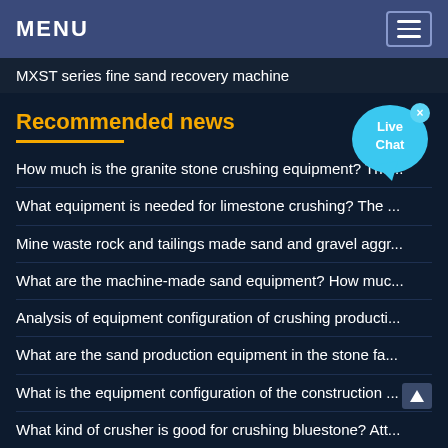MENU
MXST series fine sand recovery machine
Recommended news
How much is the granite stone crushing equipment? The...
What equipment is needed for limestone crushing? The ...
Mine waste rock and tailings made sand and gravel aggr...
What are the machine-made sand equipment? How muc...
Analysis of equipment configuration of crushing producti...
What are the sand production equipment in the stone fa...
What is the equipment configuration of the construction ...
What kind of crusher is good for crushing bluestone? Att...